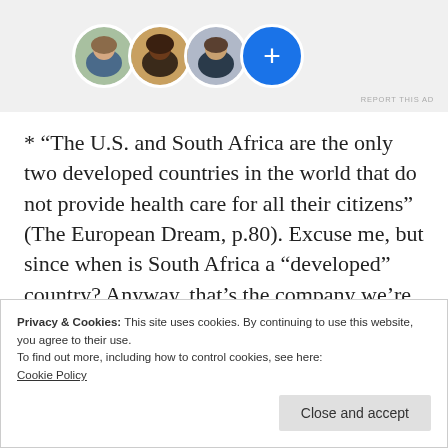[Figure (illustration): Three circular profile photo avatars of people (woman with light skin, woman with dark skin, man with medium skin) and a blue circle with a white plus sign, partially overlapping, on a light gray background. A small 'REPORT THIS AD' label appears in the bottom right.]
* “The U.S. and South Africa are the only two developed countries in the world that do not provide health care for all their citizens” (The European Dream, p.80). Excuse me, but since when is South Africa a “developed” country? Anyway, that’s the company we’re keeping.
Privacy & Cookies: This site uses cookies. By continuing to use this website, you agree to their use.
To find out more, including how to control cookies, see here:
Cookie Policy
Close and accept